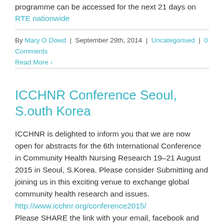programme can be accessed for the next 21 days on RTE nationwide
By Mary O Dowd | September 29th, 2014 | Uncategorised | 0 Comments
Read More ›
ICCHNR Conference Seoul, S.outh Korea
ICCHNR is delighted to inform you that we are now open for abstracts for the 6th International Conference in Community Health Nursing Research 19–21 August 2015 in Seoul, S.Korea. Please consider Submitting and joining us in this exciting venue to exchange global community health research and issues. http://www.icchnr.org/conference2015/ Please SHARE the link with your email, facebook and